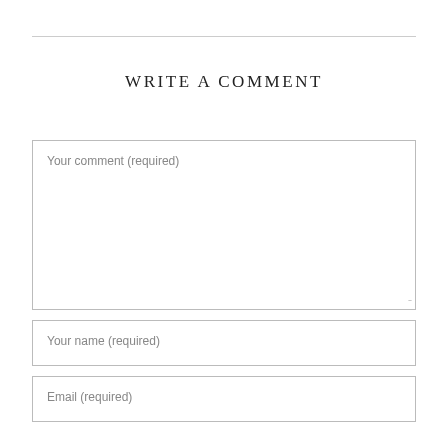WRITE A COMMENT
Your comment (required)
Your name (required)
Email (required)